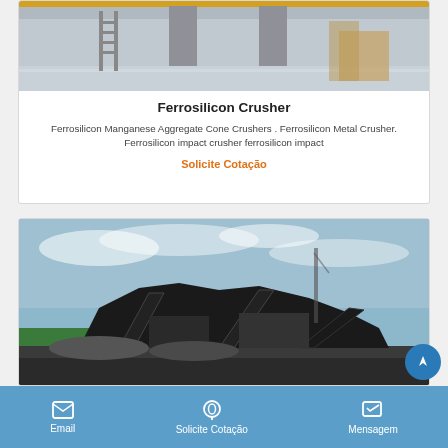[Figure (photo): Factory floor with industrial equipment, columns, and machinery visible from inside a warehouse]
Ferrosilicon Crusher
Ferrosilicon Manganese Aggregate Cone Crushers . Ferrosilicon Metal Crusher. Ferrosilicon impact crusher ferrosilicon impact
Solicite Cotação
[Figure (photo): Outdoor rock crushing/aggregate processing plant with large machinery and conveyors against a cloudy sky]
Email   Solicite Cotação   Mensagem